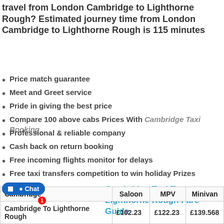What is the journey time or how long does it take to travel from London Cambridge to Lighthorne Rough? Estimated journey time from London Cambridge to Lighthorne Rough is 115 minutes
Price match guarantee
Meet and Greet service
Pride in giving the best price
Compare 100 above cabs Prices With Cambridge Taxi Booking
Professional & reliable company
Cash back on return booking
Free incoming flights monitor for delays
Free taxi transfers competition to win holiday Prizes
Cambridge Taxi To Lighthorne Rough Fare Guide
| Cambridge | Saloon | MPV | Minivan |
| --- | --- | --- | --- |
| Cambridge To Lighthorne Rough | £102.23 | £122.23 | £139.568 |